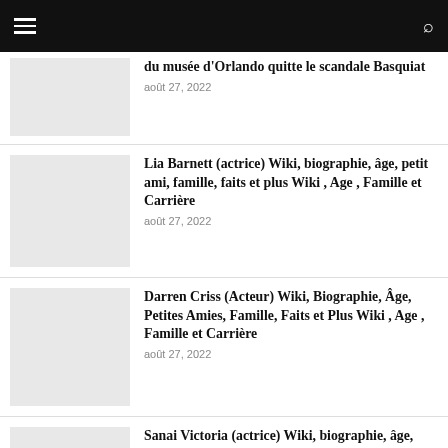du musée d'Orlando quitte le scandale Basquiat
août 27, 2022
Lia Barnett (actrice) Wiki, biographie, âge, petit ami, famille, faits et plus Wiki , Age , Famille et Carrière
août 27, 2022
Darren Criss (Acteur) Wiki, Biographie, Âge, Petites Amies, Famille, Faits et Plus Wiki , Age , Famille et Carrière
août 27, 2022
Sanai Victoria (actrice) Wiki, biographie, âge, petit ami, famille, faits et plus Wiki , Age , Famille et Carrière